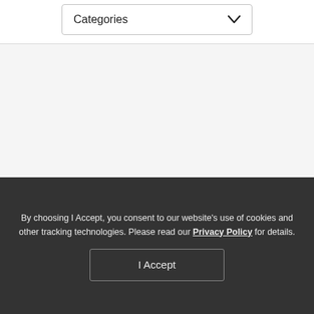Categories
By choosing I Accept, you consent to our website's use of cookies and other tracking technologies. Please read our Privacy Policy for details.
Tracking Amplifiers and USA 610 Console & Apollo
I Accept